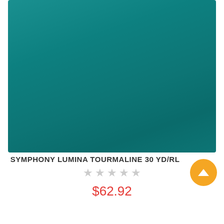[Figure (photo): Solid teal/tourmaline colored fabric or material swatch shown as a large rectangle with a slight gradient, displayed as a product image.]
SYMPHONY LUMINA TOURMALINE 30 YD/RL
★★★★★ (0 ratings, 5 empty stars)
$62.92